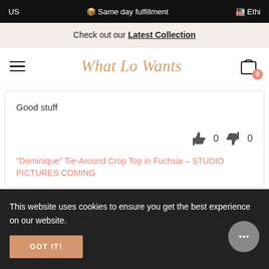US   📦 Same day fulfillment   🏭 Ethi…
Check out our Latest Collection
[Figure (logo): What Lo Wants cursive script logo in rose/gold color with hamburger menu icon on left and shopping bag icon with 0 badge on right]
Good stuff
👍 0  👎 0
"Dominique" Tie-Around Crop Top in Fuchsia – STUDIO PICTURES COMING
This website uses cookies to ensure you get the best experience on our website.
GOT IT!